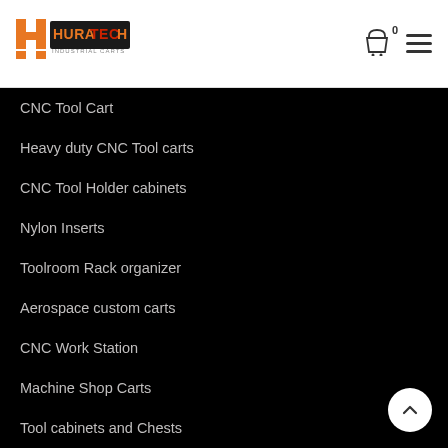Huratech logo, cart icon with badge 0, hamburger menu
CNC Tool Cart
Heavy duty CNC Tool carts
CNC Tool Holder cabinets
Nylon Inserts
Toolroom Rack organizer
Aerospace custom carts
CNC Work Station
Machine Shop Carts
Tool cabinets and Chests
Collet Racks
Custom Carts
Vintage Liquor cart
Castors